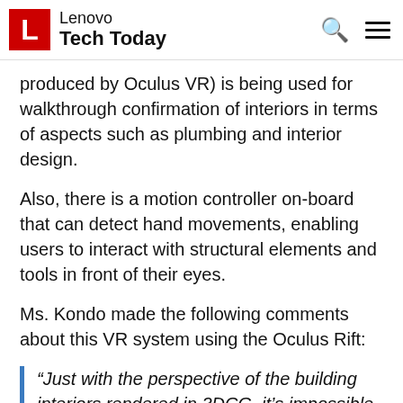Lenovo Tech Today
produced by Oculus VR) is being used for walkthrough confirmation of interiors in terms of aspects such as plumbing and interior design.
Also, there is a motion controller on-board that can detect hand movements, enabling users to interact with structural elements and tools in front of their eyes.
Ms. Kondo made the following comments about this VR system using the Oculus Rift:
“Just with the perspective of the building interiors rendered in 3DCG, it’s impossible to accurately grasp the distances between areas inside the construction space and the sense of volume of the structure. For this reason, we have up until now spent more than ten million yen creating actual model rooms mainly for